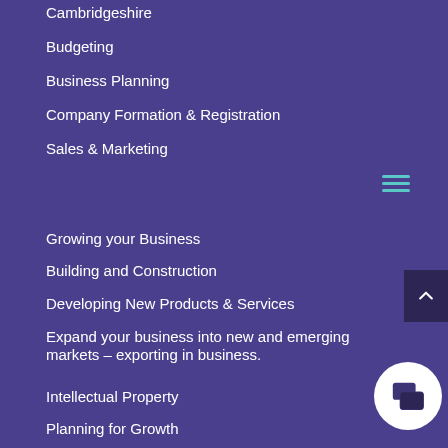Cambridgeshire
Budgeting
Business Planning
Company Formation & Registration
Sales & Marketing
Growing your Business
Building and Construction
Developing New Products & Services
Expand your business into new and emerging markets – exporting in business.
Intellectual Property
Planning for Growth